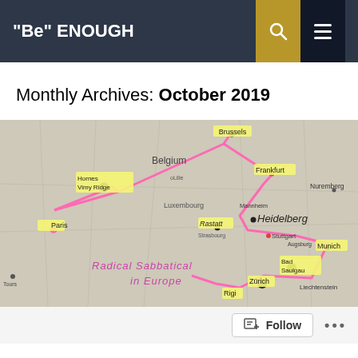"Be" ENOUGH
Monthly Archives: October 2019
[Figure (map): Hand-drawn route map of Europe showing a pink travel route connecting cities including Brussels, Paris, Hornes, Vimy Ridge, Frankfurt, Heidelberg, Rastatt, Strasbourg, Stuttgart, Munich, Bad Saulgau, Zürich, Rigi, Liechtenstein, and Luxembourg. Text on map reads 'RADICAL SABBATICAL IN EUROPE'.]
Follow